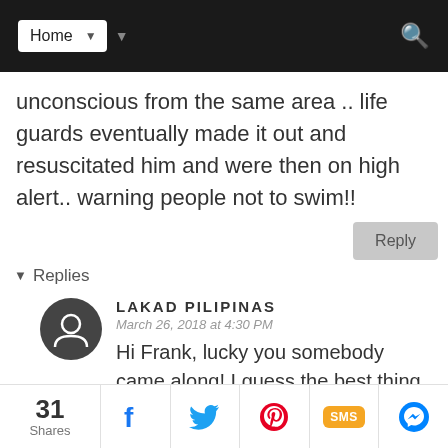Home
unconscious from the same area .. life guards eventually made it out and resuscitated him and were then on high alert.. warning people not to swim!!
Reply
▾ Replies
LAKAD PILIPINAS
March 26, 2018 at 4:30 PM
Hi Frank, lucky you somebody came along! I guess the best thing to do is...
31 Shares | Facebook | Twitter | Pinterest | SMS | Messenger